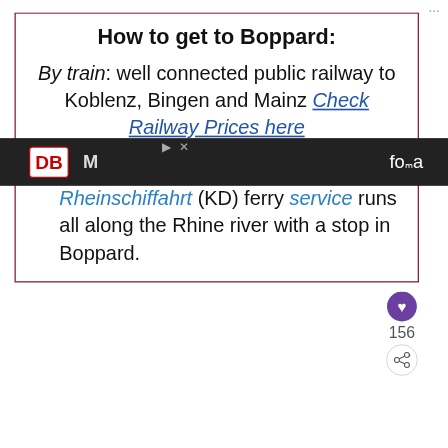How to get to Boppard:
By train: well connected public railway to Koblenz, Bingen and Mainz Check Railway Prices here
By boat: The Köln-Düsseldorfer Rheinschiffahrt (KD) ferry service runs all along the Rhine river with a stop in Boppard.
156